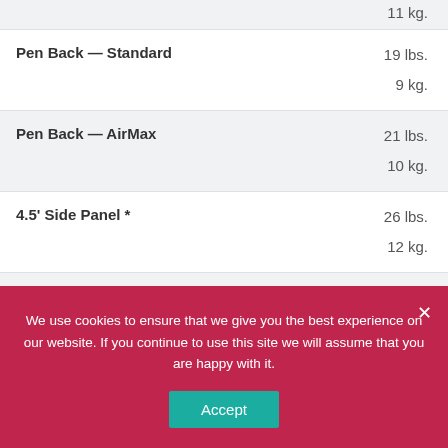| Component | Weight |
| --- | --- |
|  | 11 kg. |
| Pen Back — Standard | 19 lbs.
9 kg. |
| Pen Back — AirMax | 21 lbs.
10 kg. |
| 4.5' Side Panel * | 26 lbs.
12 kg. |
| Component Kit ** | 11 lbs.
5 kg. |
We use cookies to ensure that we give you the best experience on our website. If you continue to use this site we will assume that you are happy with it.